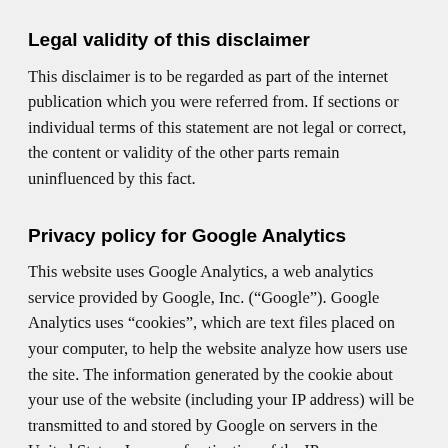Legal validity of this disclaimer
This disclaimer is to be regarded as part of the internet publication which you were referred from. If sections or individual terms of this statement are not legal or correct, the content or validity of the other parts remain uninfluenced by this fact.
Privacy policy for Google Analytics
This website uses Google Analytics, a web analytics service provided by Google, Inc. (“Google”). Google Analytics uses “cookies”, which are text files placed on your computer, to help the website analyze how users use the site. The information generated by the cookie about your use of the website (including your IP address) will be transmitted to and stored by Google on servers in the United States. In case of activation of the IP anonymization, Google will